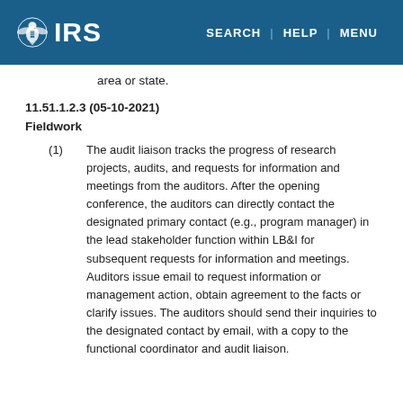IRS | SEARCH | HELP | MENU
area or state.
11.51.1.2.3 (05-10-2021)
Fieldwork
(1) The audit liaison tracks the progress of research projects, audits, and requests for information and meetings from the auditors. After the opening conference, the auditors can directly contact the designated primary contact (e.g., program manager) in the lead stakeholder function within LB&I for subsequent requests for information and meetings. Auditors issue email to request information or management action, obtain agreement to the facts or clarify issues. The auditors should send their inquiries to the designated contact by email, with a copy to the functional coordinator and audit liaison.